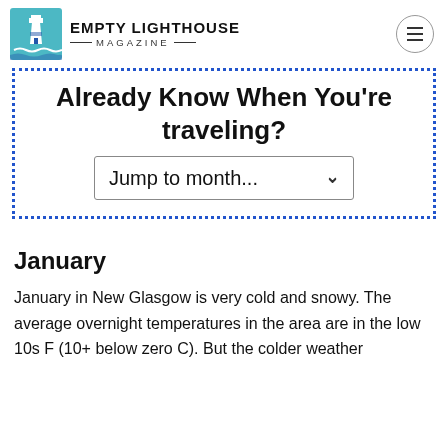Empty Lighthouse Magazine
Already Know When You're Traveling? Jump to month...
January
January in New Glasgow is very cold and snowy. The average overnight temperatures in the area are in the low 10s F (10+ below zero C). But the colder weather